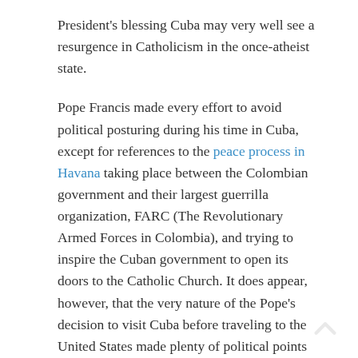President's blessing Cuba may very well see a resurgence in Catholicism in the once-atheist state.
Pope Francis made every effort to avoid political posturing during his time in Cuba, except for references to the peace process in Havana taking place between the Colombian government and their largest guerrilla organization, FARC (The Revolutionary Armed Forces in Colombia), and trying to inspire the Cuban government to open its doors to the Catholic Church. It does appear, however, that the very nature of the Pope's decision to visit Cuba before traveling to the United States made plenty of political points all on its own.
—